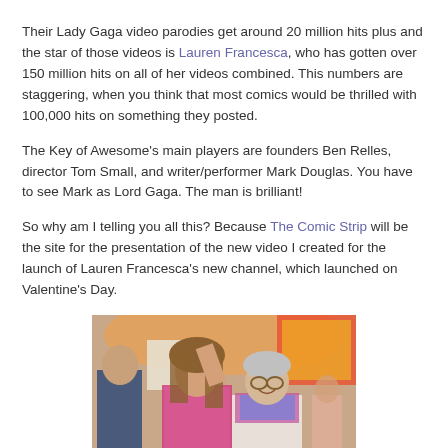Their Lady Gaga video parodies get around 20 million hits plus and the star of those videos is Lauren Francesca, who has gotten over 150 million hits on all of her videos combined. This numbers are staggering, when you think that most comics would be thrilled with 100,000 hits on something they posted.
The Key of Awesome's main players are founders Ben Relles, director Tom Small, and writer/performer Mark Douglas. You have to see Mark as Lord Gaga. The man is brilliant!
So why am I telling you all this? Because The Comic Strip will be the site for the presentation of the new video I created for the launch of Lauren Francesca's new channel, which launched on Valentine's Day.
[Figure (photo): Two people posing together at an event. A woman with long curly hair in a pink sequined outfit is blowing a kiss with her hand raised, and an older person with short grey hair wearing sunglasses and a colorful scarf is smiling beside her. There are other people in the background.]